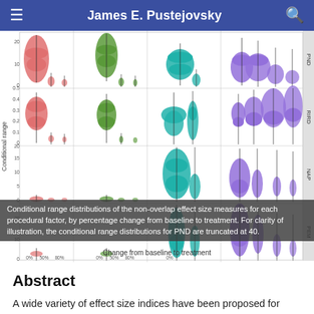James E. Pustejovsky
[Figure (other): A grid of violin plots showing conditional range distributions of non-overlap effect size measures (PND, RIRD, NAP, PEM rows) by procedural factor columns, with salmon/red, green, teal/cyan, and purple color coding. Y-axis: Conditional range. X-axis: Change from baseline to treatment (0%, 50%, 80%).]
Conditional range distributions of the non-overlap effect size measures for each procedural factor, by percentage change from baseline to treatment. For clarity of illustration, the conditional range distributions for PND are truncated at 40.
Abstract
A wide variety of effect size indices have been proposed for quantifying the magnitude of treatment effects in single-case